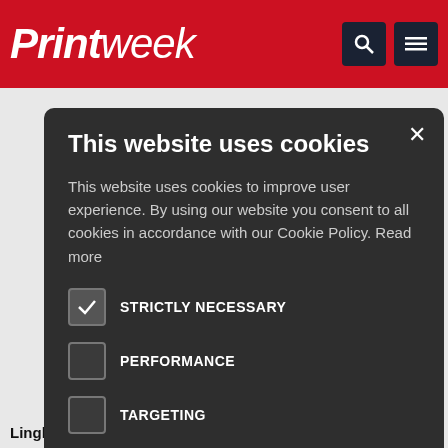Printweek
[Figure (screenshot): Cookie consent modal dialog over Printweek website. Dialog has title 'This website uses cookies', body text explaining cookie usage, checkboxes for STRICTLY NECESSARY (checked), PERFORMANCE, TARGETING, FUNCTIONALITY, with ACCEPT ALL and DECLINE ALL buttons, and a SHOW DETAILS link. Background shows partial article text.]
ckey the SMP e. If it was
nable mail
n this one.
nable mail
ut Kesslers in old the
Linghamore adds concept group to Hexcite · 1 day ago